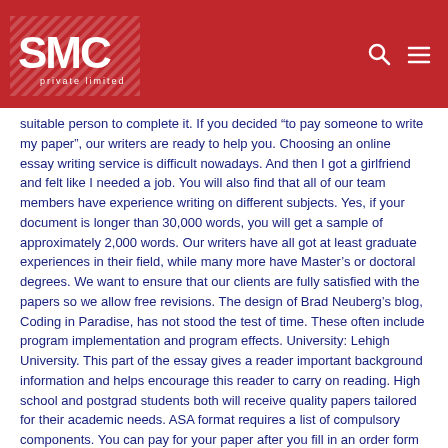[Figure (logo): SMC Private Limited logo on red background header with diagonal stripe pattern, search icon and hamburger menu icon on right]
suitable person to complete it. If you decided “to pay someone to write my paper”, our writers are ready to help you. Choosing an online essay writing service is difficult nowadays. And then I got a girlfriend and felt like I needed a job. You will also find that all of our team members have experience writing on different subjects. Yes, if your document is longer than 30,000 words, you will get a sample of approximately 2,000 words. Our writers have all got at least graduate experiences in their field, while many more have Master’s or doctoral degrees. We want to ensure that our clients are fully satisfied with the papers so we allow free revisions. The design of Brad Neuberg’s blog, Coding in Paradise, has not stood the test of time. These often include program implementation and program effects. University: Lehigh University. This part of the essay gives a reader important background information and helps encourage this reader to carry on reading. High school and postgrad students both will receive quality papers tailored for their academic needs. ASA format requires a list of compulsory components. You can pay for your paper after you fill in an order form and get redirected to the payment page. If you cannot complete a mandatory assignment, you risk getting a lower grade.